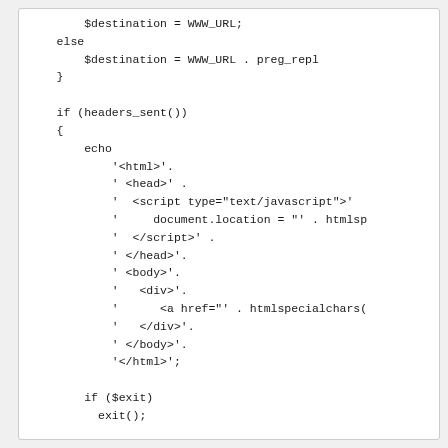[Figure (screenshot): Code screenshot showing PHP code with destination variable assignment, headers_sent() check, echo statement with HTML string concatenation including html, head, script, document.location, /script, /head, body, div, a href, /div, /body, /html tags, followed by if ($exit) exit(); and return true;]